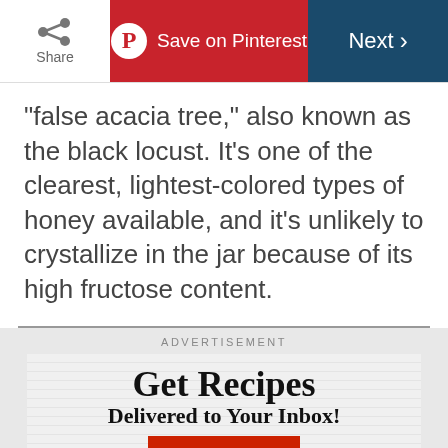Share | Save on Pinterest | Next
“false acacia tree,” also known as the black locust. It’s one of the clearest, lightest-colored types of honey available, and it’s unlikely to crystallize in the jar because of its high fructose content.
[Figure (infographic): Advertisement banner: Get Recipes Delivered to Your Inbox! Sign Up button. Taste of Home branding with food photos.]